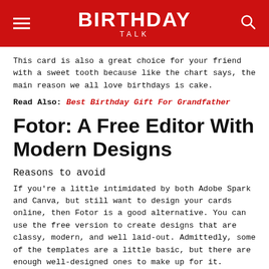BIRTHDAY TALK
This card is also a great choice for your friend with a sweet tooth because like the chart says, the main reason we all love birthdays is cake.
Read Also: Best Birthday Gift For Grandfather
Fotor: A Free Editor With Modern Designs
Reasons to avoid
If you're a little intimidated by both Adobe Spark and Canva, but still want to design your cards online, then Fotor is a good alternative. You can use the free version to create designs that are classy, modern, and well laid-out. Admittedly, some of the templates are a little basic, but there are enough well-designed ones to make up for it.